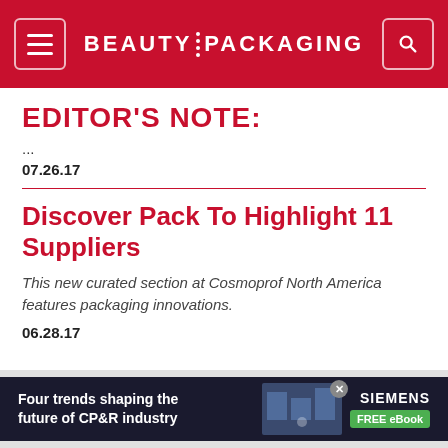BEAUTY PACKAGING
EDITOR'S NOTE:
...
07.26.17
Discover Pack To Highlight 11 Suppliers
This new curated section at Cosmoprof North America features packaging innovations.
06.28.17
[Figure (infographic): Advertisement banner: Four trends shaping the future of CP&R industry - Siemens FREE eBook]